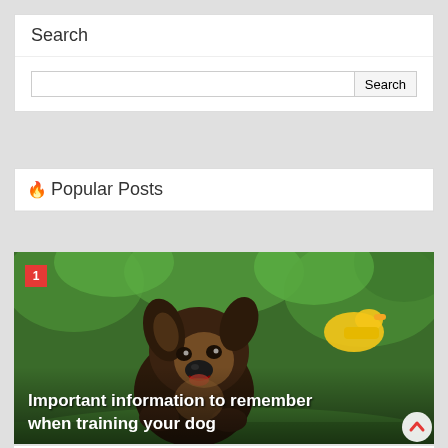Search
[Figure (screenshot): Search input box with a text field and Search button]
🔥 Popular Posts
[Figure (photo): A German Shepherd puppy running on grass toward the camera with a yellow rubber duck toy visible in the background. Red numbered badge showing '1' is overlaid in bottom-left. Bold white text reads: 'Important information to remember when training your dog']
Important information to remember when training your dog